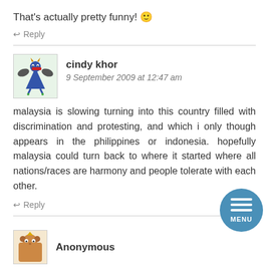That's actually pretty funny! 🙂
↩ Reply
cindy khor
9 September 2009 at 12:47 am
malaysia is slowing turning into this country filled with discrimination and protesting, and which i only though appears in the philippines or indonesia. hopefully malaysia could turn back to where it started where all nations/races are harmony and people tolerate with each other.
↩ Reply
Anonymous